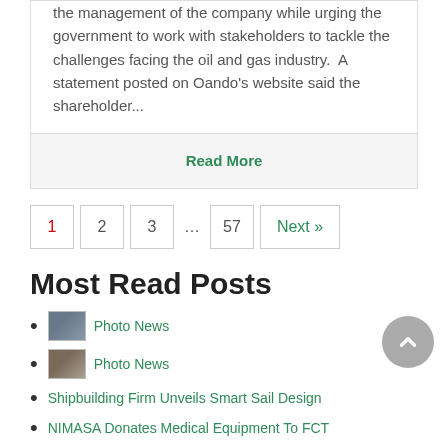the management of the company while urging the government to work with stakeholders to tackle the challenges facing the oil and gas industry.  A statement posted on Oando's website said the shareholder...
Read More
1  2  3  ...  57  Next »
Most Read Posts
Photo News
Photo News
Shipbuilding Firm Unveils Smart Sail Design
NIMASA Donates Medical Equipment To FCT